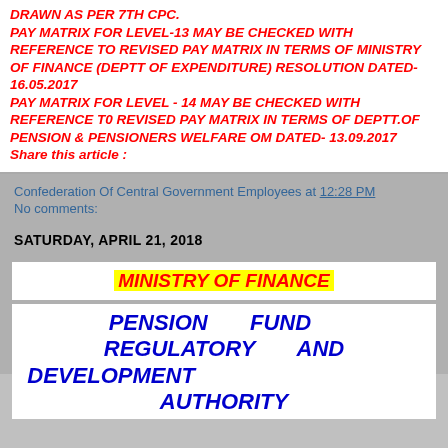DRAWN AS PER 7TH CPC. PAY MATRIX FOR LEVEL-13 MAY BE CHECKED WITH REFERENCE TO REVISED PAY MATRIX IN TERMS OF MINISTRY OF FINANCE (DEPTT OF EXPENDITURE) RESOLUTION DATED- 16.05.2017 PAY MATRIX FOR LEVEL - 14 MAY BE CHECKED WITH REFERENCE T0 REVISED PAY MATRIX IN TERMS OF DEPTT.OF PENSION & PENSIONERS WELFARE OM DATED- 13.09.2017
Share this article :
Confederation Of Central Government Employees at 12:28 PM
No comments:
SATURDAY, APRIL 21, 2018
MINISTRY OF FINANCE
PENSION FUND REGULATORY AND DEVELOPMENT AUTHORITY